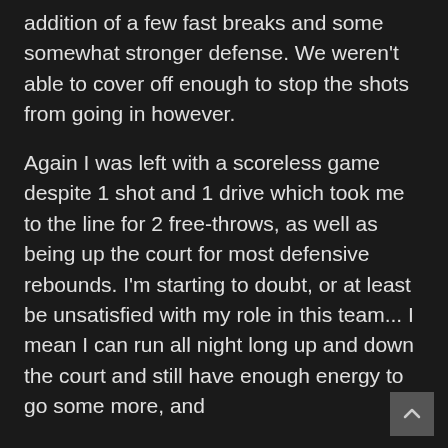addition of a few fast breaks and some somewhat stronger defense. We weren't able to cover off enough to stop the shots from going in however.
Again I was left with a scoreless game despite 1 shot and 1 drive which took me to the line for 2 free-throws, as well as being up the court for most defensive rebounds. I'm starting to doubt, or at least be unsatisfied with my role in this team... I mean I can run all night long up and down the court and still have enough energy to go some more, and